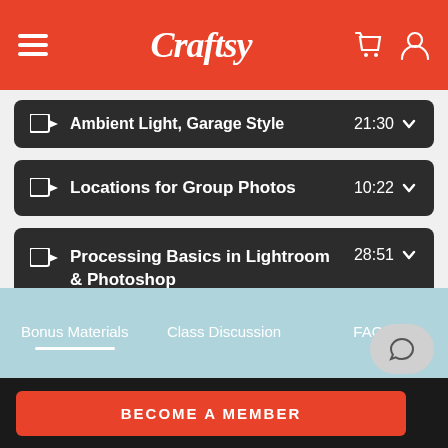Craftsy
Ambient Light, Garage Style   21:30
Locations for Group Photos   10:22
Processing Basics in Lightroom & Photoshop   28:51
Bonus Materials   Class Discussion   FAQS
BECOME A MEMBER